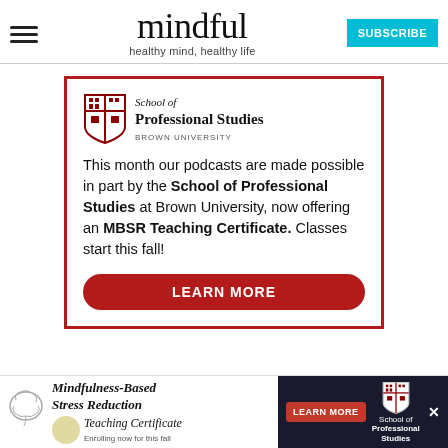mindful — healthy mind, healthy life
[Figure (illustration): Advertisement box with red border featuring Brown University School of Professional Studies logo, text about podcasts sponsorship and MBSR Teaching Certificate, and a LEARN MORE button]
[Figure (infographic): Bottom banner strip showing Mindfulness-Based Stress Reduction Teaching Certificate ad with brain illustration and Teaching Certificate text, alongside dark panel with LEARN MORE button and Brown University School of Professional Studies logo]